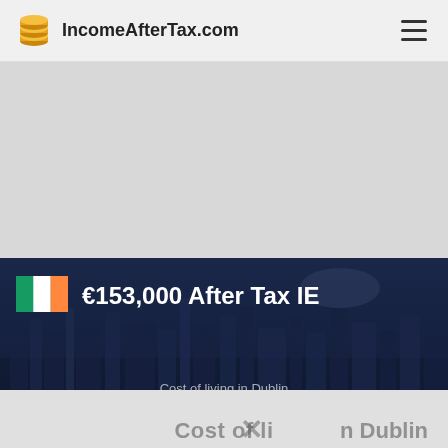IncomeAfterTax.com
[Figure (screenshot): Gray advertisement banner area]
€153,000 After Tax IE
[Figure (photo): Night cityscape of Dublin overlaid with dark navy tint]
Cost of living in Dublin
No compatible source was found for this media.
Cost of living in Dublin